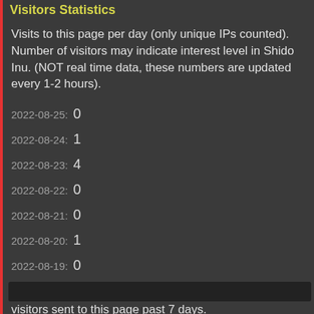Visitors Statistics
Visits to this page per day (only unique IPs counted). Number of visitors may indicate interest level in Shido Inu. (NOT real time data, these numbers are updated every 1-2 hours).
2022-08-25: 0
2022-08-24: 1
2022-08-23: 4
2022-08-22: 0
2022-08-21: 0
2022-08-20: 1
2022-08-19: 0
Referring domains ordered by the number of unique visitors sent to this page past 7 days.
none found...